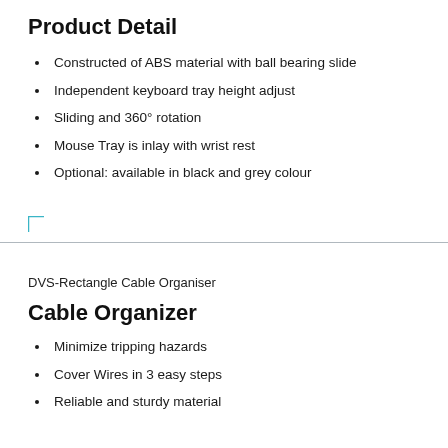Product Detail
Constructed of ABS material with ball bearing slide
Independent keyboard tray height adjust
Sliding and 360° rotation
Mouse Tray is inlay with wrist rest
Optional: available in black and grey colour
DVS-Rectangle Cable Organiser
Cable Organizer
Minimize tripping hazards
Cover Wires in 3 easy steps
Reliable and sturdy material